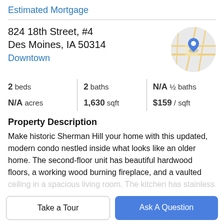Estimated Mortgage
824 18th Street, #4
Des Moines, IA 50314
Downtown
[Figure (map): Circular map thumbnail showing street map with a blue location pin marker]
| 2 beds | 2 baths | N/A ½ baths |
| N/A acres | 1,630 sqft | $159 / sqft |
Property Description
Make historic Sherman Hill your home with this updated, modern condo nestled inside what looks like an older home. The second-floor unit has beautiful hardwood floors, a working wood burning fireplace, and a vaulted ceiling in a spacious living room. The kitchen has stainless
Take a Tour
Ask A Question